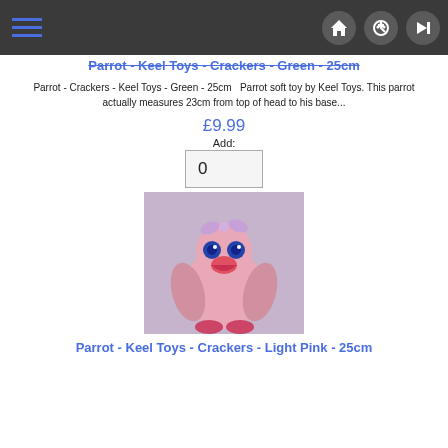Parrot - Keel Toys - Crackers - Green - 25cm
Parrot - Crackers - Keel Toys - Green - 25cm   Parrot soft toy by Keel Toys. This parrot actually measures 23cm from top of head to his base...
£9.99
Add:
0
[Figure (photo): Pink parrot plush soft toy sitting against a light background, with large blue eyes, pink beak, and a lavender bow on its head]
Parrot - Keel Toys - Crackers - Light Pink - 25cm